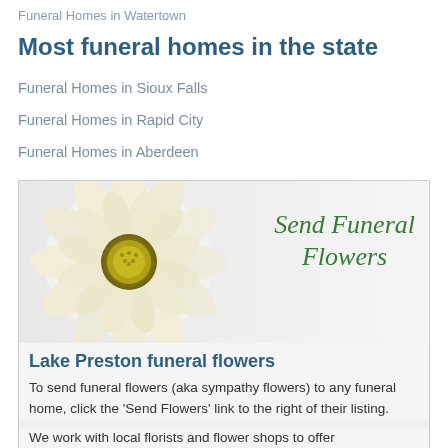Funeral Homes in Watertown
Most funeral homes in the state
Funeral Homes in Sioux Falls
Funeral Homes in Rapid City
Funeral Homes in Aberdeen
[Figure (illustration): Advertisement banner showing a white dahlia flower on gray background with green italic text 'Send Funeral Flowers']
Lake Preston funeral flowers
To send funeral flowers (aka sympathy flowers) to any funeral home, click the 'Send Flowers' link to the right of their listing.
We work with local florists and flower shops to offer